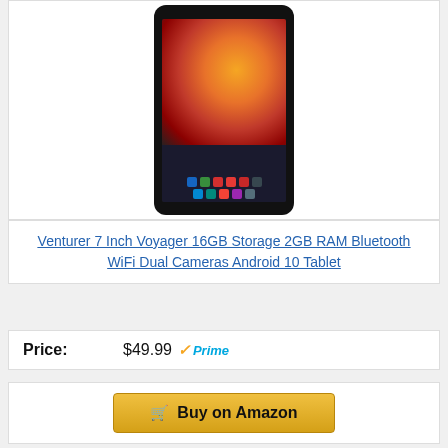[Figure (photo): A 7-inch Android tablet with a sunflower displayed on screen]
Venturer 7 Inch Voyager 16GB Storage 2GB RAM Bluetooth WiFi Dual Cameras Android 10 Tablet
Price: $49.99 Prime
Buy on Amazon
3